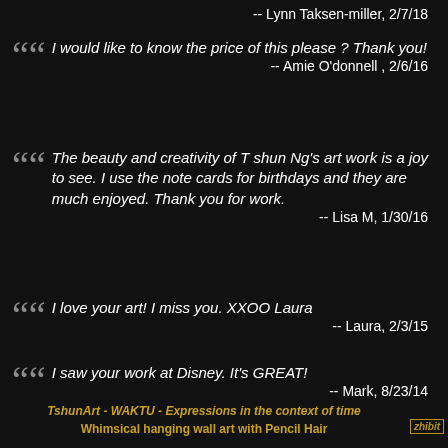-- Lynn Taksen-miller, 2/7/18
I would like to know the price of this please ? Thank you!
-- Amie O'donnell , 2/6/16
The beauty and creativity of T shun Ng's art work is a joy to see. I use the note cards for birthdays and they are much enjoyed. Thank you for work.
-- Lisa M, 1/30/16
I love your art! I miss you. XXOO Laura
-- Laura, 2/3/15
I saw your work at Disney. It's GREAT!
-- Mark, 8/23/14
TshunArt - WAKTU - Expressions in the context of time
Whimsical hanging wall art with Pencil Hair